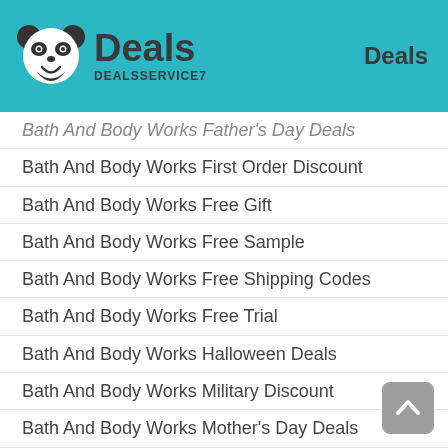Deals DEALSSERVICE7 | Deals
Bath And Body Works Father's Day Deals
Bath And Body Works First Order Discount
Bath And Body Works Free Gift
Bath And Body Works Free Sample
Bath And Body Works Free Shipping Codes
Bath And Body Works Free Trial
Bath And Body Works Halloween Deals
Bath And Body Works Military Discount
Bath And Body Works Mother's Day Deals
Bath And Body Works New Year's Day Deals
Bath And Body Works NHS Discount
Bath And Body Works Printable Coupon
Bath And Body Works Referral Discount
Bath And Body Works Reward Points
Bath And Body Works Senior Discount